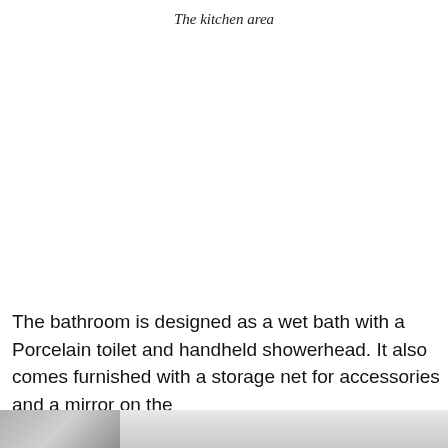The kitchen area
[Figure (photo): Photo of the kitchen area (image content not visible in this crop)]
The bathroom is designed as a wet bath with a Porcelain toilet and handheld showerhead. It also comes furnished with a storage net for accessories and a mirror on the inside of the door.
[Figure (photo): Bottom partial image, appears to be a photo cropped at the bottom of the page]